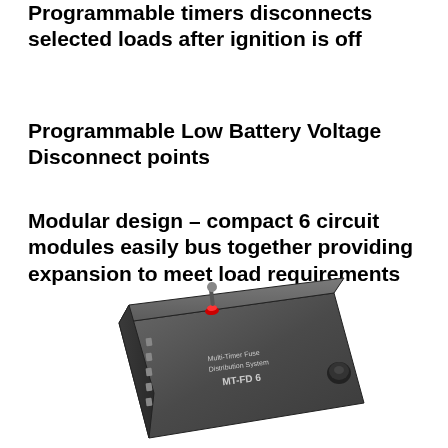Programmable timers disconnects selected loads after ignition is off
Programmable Low Battery Voltage Disconnect points
Modular design – compact 6 circuit modules easily bus together providing expansion to meet load requirements
[Figure (photo): Photo of a Multi-Timer Fuse Distribution System device labeled MT-FD 6, shown at an angle with a red indicator light and a black knob on a dark grey housing.]